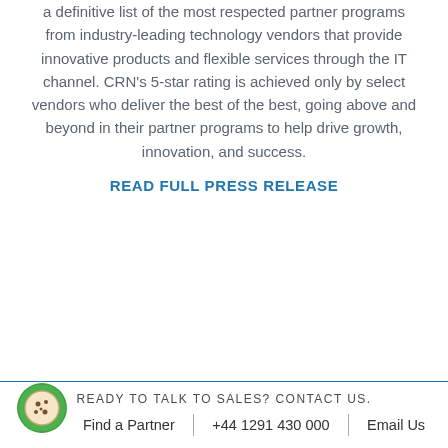a definitive list of the most respected partner programs from industry-leading technology vendors that provide innovative products and flexible services through the IT channel. CRN's 5-star rating is achieved only by select vendors who deliver the best of the best, going above and beyond in their partner programs to help drive growth, innovation, and success.
READ FULL PRESS RELEASE
READY TO TALK TO SALES? CONTACT US. | Find a Partner | +44 1291 430 000 | Email Us